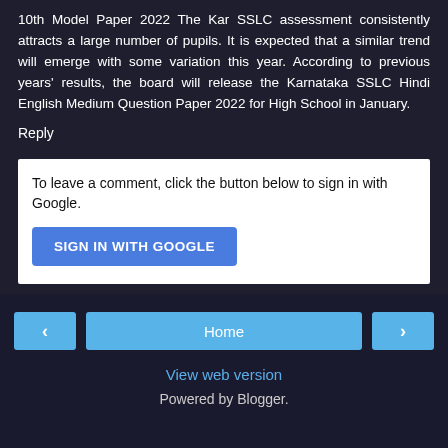10th Model Paper 2022 The Kar SSLC assessment consistently attracts a large number of pupils. It is expected that a similar trend will emerge with some variation this year. According to previous years' results, the board will release the Karnataka SSLC Hindi English Medium Question Paper 2022 for High School in January.
Reply
To leave a comment, click the button below to sign in with Google.
[Figure (other): Blue button labeled SIGN IN WITH GOOGLE]
[Figure (other): Navigation bar with left arrow, Home button, and right arrow]
View web version
Powered by Blogger.